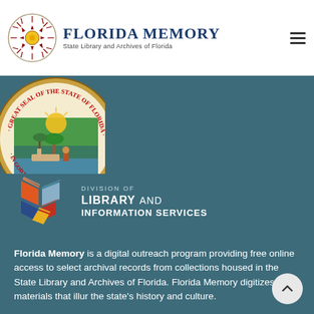[Figure (logo): Florida Memory logo with compass/sun medallion and text 'FLORIDA MEMORY State Library and Archives of Florida']
[Figure (logo): Florida State Seal partially visible — circular seal with 'In God We Trust' and 'Great Seal of the State of Florida']
[Figure (logo): Division of Library and Information Services logo — colorful geometric book-like icon with text]
Florida Memory is a digital outreach program providing free online access to select archival records from collections housed in the State Library and Archives of Florida. Florida Memory digitizes materials that illur the state's history and culture.